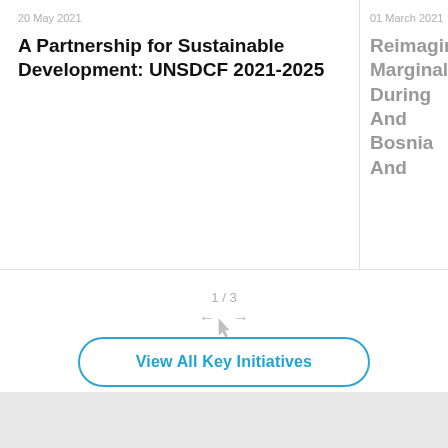20 May 2021
A Partnership for Sustainable Development: UNSDCF 2021-2025
01 March 2021
Reimaginin Marginalize During And Bosnia And
1 / 3
← →
View All Key Initiatives